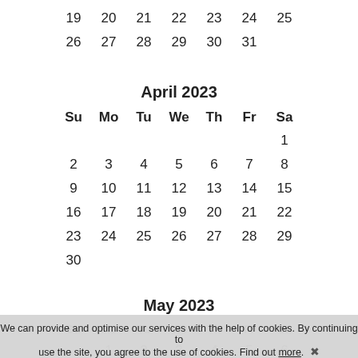| 19 | 20 | 21 | 22 | 23 | 24 | 25 |
| 26 | 27 | 28 | 29 | 30 | 31 |  |
April 2023
| Su | Mo | Tu | We | Th | Fr | Sa |
| --- | --- | --- | --- | --- | --- | --- |
|  |  |  |  |  |  | 1 |
| 2 | 3 | 4 | 5 | 6 | 7 | 8 |
| 9 | 10 | 11 | 12 | 13 | 14 | 15 |
| 16 | 17 | 18 | 19 | 20 | 21 | 22 |
| 23 | 24 | 25 | 26 | 27 | 28 | 29 |
| 30 |  |  |  |  |  |  |
May 2023
Su Mo Tu We Th Fr Sa
We can provide and optimise our services with the help of cookies. By continuing to use the site, you agree to the use of cookies. Find out more.